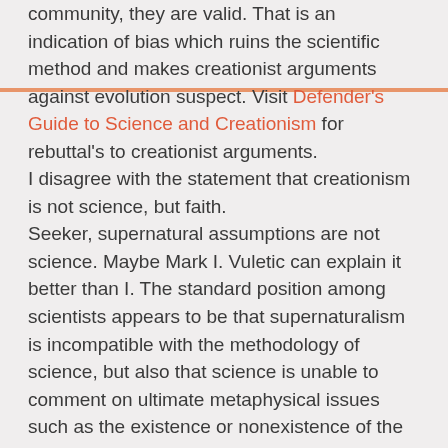community, they are valid. That is an indication of bias which ruins the scientific method and makes creationist arguments against evolution suspect. Visit Defender's Guide to Science and Creationism for rebuttal's to creationist arguments. I disagree with the statement that creationism is not science, but faith. Seeker, supernatural assumptions are not science. Maybe Mark I. Vuletic can explain it better than I. The standard position among scientists appears to be that supernaturalism is incompatible with the methodology of science, but also that science is unable to comment on ultimate metaphysical issues such as the existence or nonexistence of the supernatural. That is to say, the working scientist must in the laboratory presume for methodological purposes that there is a naturalistic explanation for whatever phenomenon she is investigating, but may place